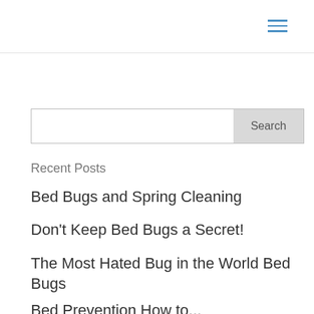[Figure (other): Hamburger menu icon with three horizontal blue lines in top-right corner]
Recent Posts
Bed Bugs and Spring Cleaning
Don't Keep Bed Bugs a Secret!
The Most Hated Bug in the World Bed Bugs
Bed Prevention How to...